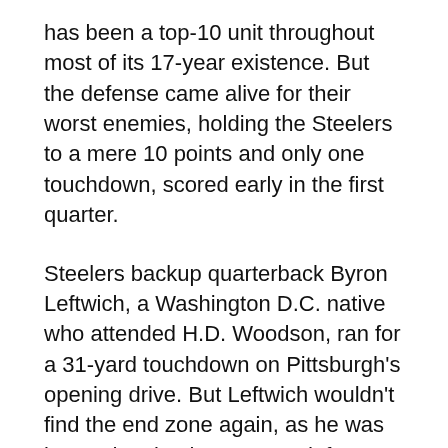has been a top-10 unit throughout most of its 17-year existence. But the defense came alive for their worst enemies, holding the Steelers to a mere 10 points and only one touchdown, scored early in the first quarter.
Steelers backup quarterback Byron Leftwich, a Washington D.C. native who attended H.D. Woodson, ran for a 31-yard touchdown on Pittsburgh's opening drive. But Leftwich wouldn't find the end zone again, as he was banged up by the Ravens defense for the remainder of the game. He completed 18 of 39 passes for 201 yards and an interception.
Most Outstanding Player of the Game: